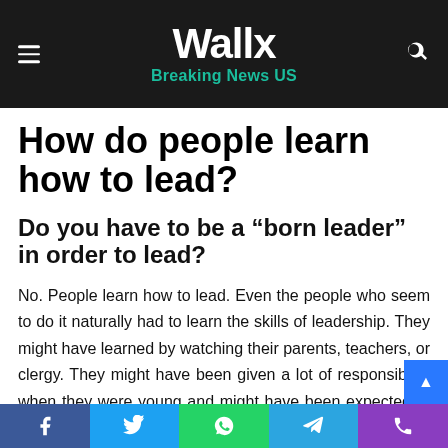Wallx · Breaking News US
How do people learn how to lead?
Do you have to be a “born leader” in order to lead?
No. People learn how to lead. Even the people who seem to do it naturally had to learn the skills of leadership. They might have learned by watching their parents, teachers, or clergy. They might have been given a lot of responsibility when they were young and might have been expected to take charge. They might even have taken classes in “leadership
Facebook · Twitter · WhatsApp · Telegram · Phone